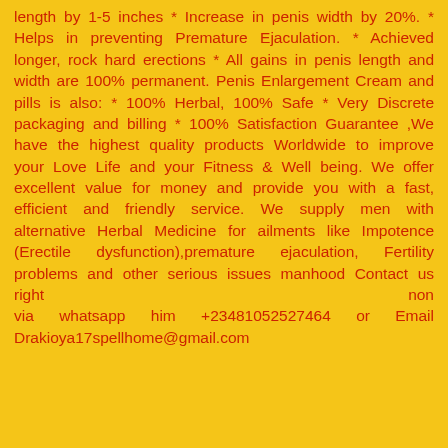length by 1-5 inches * Increase in penis width by 20%. * Helps in preventing Premature Ejaculation. * Achieved longer, rock hard erections * All gains in penis length and width are 100% permanent. Penis Enlargement Cream and pills is also: * 100% Herbal, 100% Safe * Very Discrete packaging and billing * 100% Satisfaction Guarantee ,We have the highest quality products Worldwide to improve your Love Life and your Fitness & Well being. We offer excellent value for money and provide you with a fast, efficient and friendly service. We supply men with alternative Herbal Medicine for ailments like Impotence (Erectile dysfunction),premature ejaculation, Fertility problems and other serious issues manhood Contact us right non via whatsapp him +23481052527464 or Email Drakioya17spellhome@gmail.com